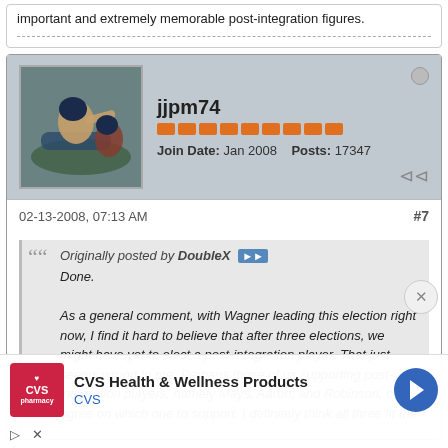important and extremely memorable post-integration figures.
jjpm74
Join Date: Jan 2008   Posts: 17347
02-13-2008, 07:13 AM
#7
Originally posted by DoubleX
Done.

As a general comment, with Wagner leading this election right now, I find it hard to believe that after three elections, we might have yet to elect a post-integration player. That just seems wrong to me. Perhaps those of us supporting post-integration players, namely Mays, Aaron, and Robinson, can't agree on which one to support. I definitely think all three fit the
[Figure (other): CVS Health & Wellness Products advertisement overlay with CVS pharmacy logo, navigation arrow icon]